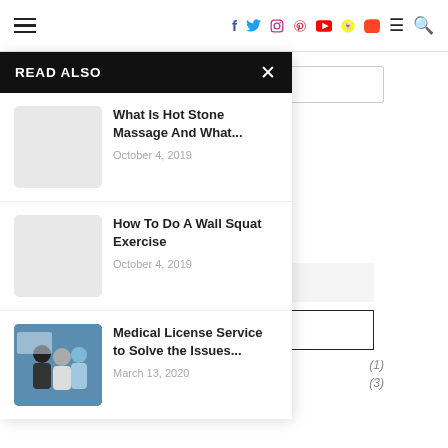Navigation bar with hamburger menu, social icons (Facebook, Twitter, Instagram, Pinterest, YouTube, Snapchat, StumbleUpon), menu and search icons
READ ALSO
What Is Hot Stone Massage And What... — October 4, 2019
How To Do A Wall Squat Exercise — October 4, 2019
Medical License Service to Solve the Issues... — March 13, 2020